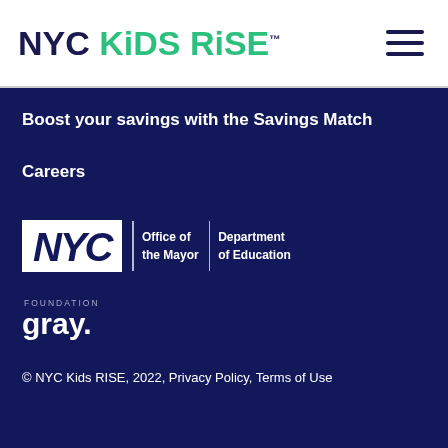NYC Kids RISE™
Boost your savings with the Savings Match
Careers
[Figure (logo): NYC Office of the Mayor | Department of Education logo]
[Figure (logo): Gray Foundation logo]
© NYC Kids RISE, 2022, Privacy Policy, Terms of Use